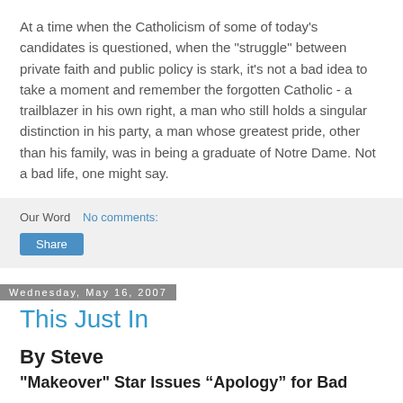At a time when the Catholicism of some of today's candidates is questioned, when the "struggle" between private faith and public policy is stark, it's not a bad idea to take a moment and remember the forgotten Catholic - a trailblazer in his own right, a man who still holds a singular distinction in his party, a man whose greatest pride, other than his family, was in being a graduate of Notre Dame. Not a bad life, one might say.
Our Word   No comments:
Share
Wednesday, May 16, 2007
This Just In
By Steve
"Makeover" Star Issues “Apology” for Bad